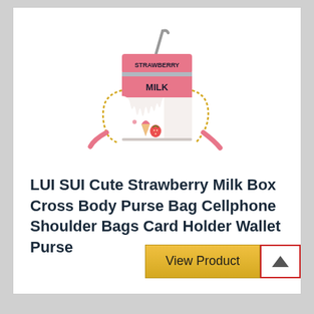[Figure (photo): A pink strawberry milk box shaped crossbody purse bag with a straw on top, gold chain strap, and strawberry/milk drip design on the front. Text on the bag reads STRAWBERRY MILK.]
LUI SUI Cute Strawberry Milk Box Cross Body Purse Bag Cellphone Shoulder Bags Card Holder Wallet Purse